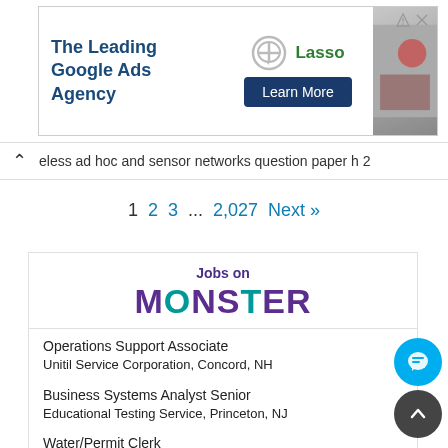[Figure (screenshot): Ad banner for Lasso - The Leading Google Ads Agency with Learn More button]
less ad hoc and sensor networks question paper h 2
1  2  3  ...  2,027  Next »
[Figure (logo): Jobs on MONSTER logo box]
Operations Support Associate
Unitil Service Corporation, Concord, NH
Business Systems Analyst Senior
Educational Testing Service, Princeton, NJ
Water/Permit Clerk